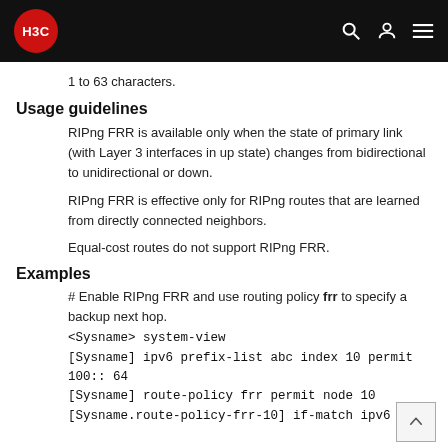H3C
1 to 63 characters.
Usage guidelines
RIPng FRR is available only when the state of primary link (with Layer 3 interfaces in up state) changes from bidirectional to unidirectional or down.
RIPng FRR is effective only for RIPng routes that are learned from directly connected neighbors.
Equal-cost routes do not support RIPng FRR.
Examples
# Enable RIPng FRR and use routing policy frr to specify a backup next hop.
<Sysname> system-view
[Sysname] ipv6 prefix-list abc index 10 permit
100:: 64
[Sysname] route-policy frr permit node 10
[Sysname.route-policy-frr-10] if-match ipv6